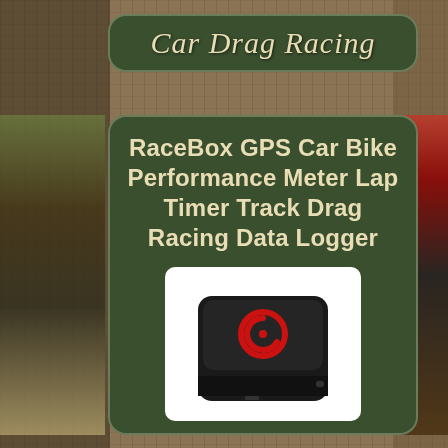Car Drag Racing
RaceBox GPS Car Bike Performance Meter Lap Timer Track Drag Racing Data Logger
[Figure (photo): RaceBox GPS Car Bike Performance Meter Lap Timer Track Drag Racing Data Logger device — a small black rectangular device with a red spiral logo on top, shown on white background]